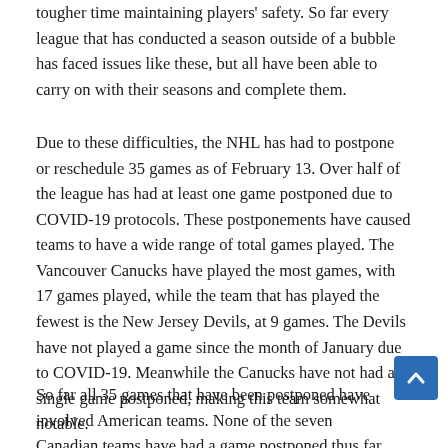tougher time maintaining players' safety. So far every league that has conducted a season outside of a bubble has faced issues like these, but all have been able to carry on with their seasons and complete them.
Due to these difficulties, the NHL has had to postpone or reschedule 35 games as of February 13. Over half of the league has had at least one game postponed due to COVID-19 protocols. These postponements have caused teams to have a wide range of total games played. The Vancouver Canucks have played the most games, with 17 games played, while the team that has played the fewest is the New Jersey Devils, at 9 games. The Devils have not played a game since the month of January due to COVID-19. Meanwhile the Canucks have not had a single game postponed, making this team somewhat notable.
So far all 35 games that have been postponed have involved American teams. None of the seven Canadian teams have had a game postponed thus far. This can be attributed to the success that the NHL has experienced with implementing an all